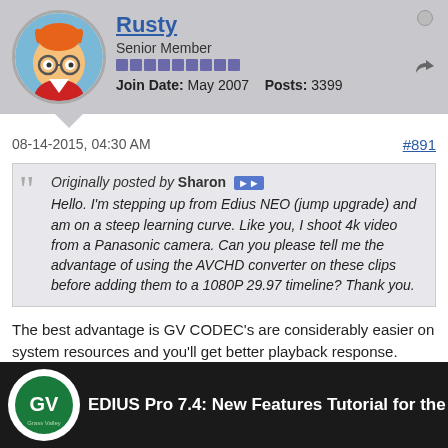Rusty — Senior Member — Join Date: May 2007 — Posts: 3399
08-14-2015, 04:30 AM  #891
Originally posted by Sharon — Hello. I'm stepping up from Edius NEO (jump upgrade) and am on a steep learning curve. Like you, I shoot 4k video from a Panasonic camera. Can you please tell me the advantage of using the AVCHD converter on these clips before adding them to a 1080P 29.97 timeline? Thank you.
The best advantage is GV CODEC's are considerably easier on system resources and you'll get better playback response. AVCHD is a good camera CODEC, while HQX is a great edit intermediate.
Recommended viewing...
[Figure (screenshot): Video thumbnail for 'EDIUS Pro 7.4: New Features Tutorial for the C' with GV (Grass Valley) logo]